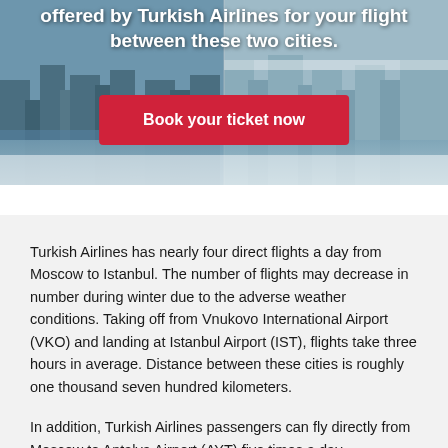[Figure (photo): Hero image with aerial/cityscape photo background (Moscow and Istanbul city scenes). White bold text overlay reading 'offered by Turkish Airlines for your flight between these two cities.' A red 'Book your ticket now' button is overlaid on the image.]
Turkish Airlines has nearly four direct flights a day from Moscow to Istanbul. The number of flights may decrease in number during winter due to the adverse weather conditions. Taking off from Vnukovo International Airport (VKO) and landing at Istanbul Airport (IST), flights take three hours in average. Distance between these cities is roughly one thousand seven hundred kilometers.
In addition, Turkish Airlines passengers can fly directly from Moscow to Antalya Airport (AYT) five times a day. Accordingly, offering more alternatives, Turkish Airlines flights between Moscow and Istanbul are operated with a connecting flight over